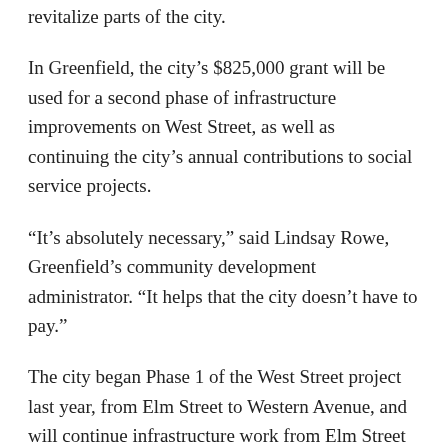revitalize parts of the city.
In Greenfield, the city's $825,000 grant will be used for a second phase of infrastructure improvements on West Street, as well as continuing the city's annual contributions to social service projects.
“It’s absolutely necessary,” said Lindsay Rowe, Greenfield’s community development administrator. “It helps that the city doesn’t have to pay.”
The city began Phase 1 of the West Street project last year, from Elm Street to Western Avenue, and will continue infrastructure work from Elm Street to Conway Street this year.
Rowe said work on West Street is focusing on sewers, drainage and water mains, one of which burst in a series of water main breaks across Greenfield in July 2021. She said that most of this infrastructure had been installed at the beginning of the 20th